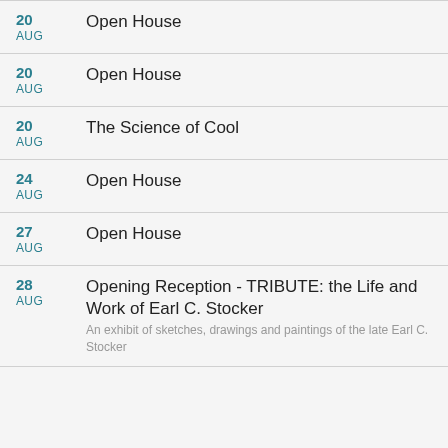20 AUG — Open House
20 AUG — Open House
20 AUG — The Science of Cool
24 AUG — Open House
27 AUG — Open House
28 AUG — Opening Reception - TRIBUTE: the Life and Work of Earl C. Stocker. An exhibit of sketches, drawings and paintings of the late Earl C. Stocker